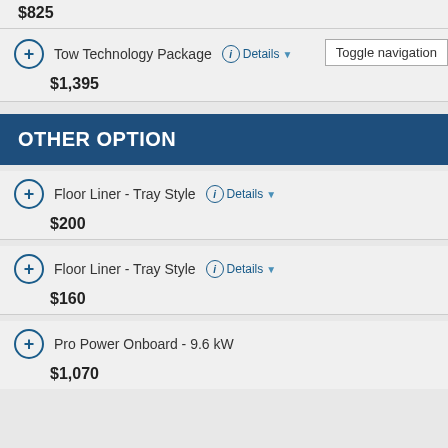$825
Tow Technology Package — $1,395
OTHER OPTION
Floor Liner - Tray Style — $200
Floor Liner - Tray Style — $160
Pro Power Onboard - 9.6 kW — $1,070